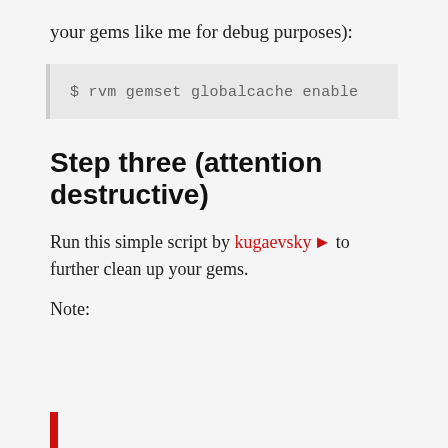your gems like me for debug purposes):
$ rvm gemset globalcache enable
Step three (attention destructive)
Run this simple script by kugaevsky ↗ to further clean up your gems.
Note: